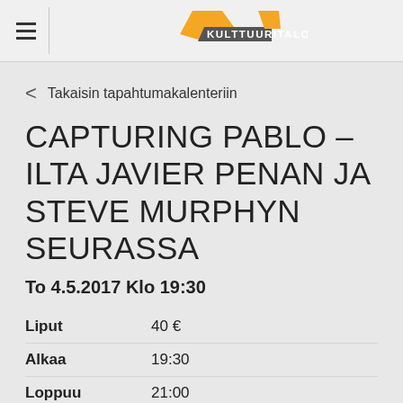KULTTUURITALO
< Takaisin tapahtumakalenteriin
CAPTURING PABLO – ILTA JAVIER PENAN JA STEVE MURPHYN SEURASSA
To 4.5.2017 Klo 19:30
|  |  |
| --- | --- |
| Liput | 40 € |
| Alkaa | 19:30 |
| Loppuu | 21:00 |